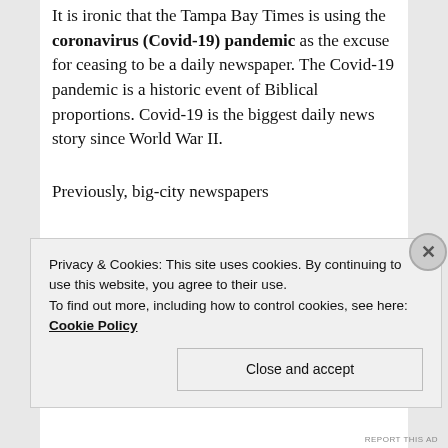It is ironic that the Tampa Bay Times is using the coronavirus (Covid-19) pandemic as the excuse for ceasing to be a daily newspaper. The Covid-19 pandemic is a historic event of Biblical proportions. Covid-19 is the biggest daily news story since World War II.
Previously, big-city newspapers...
Privacy & Cookies: This site uses cookies. By continuing to use this website, you agree to their use.
To find out more, including how to control cookies, see here: Cookie Policy